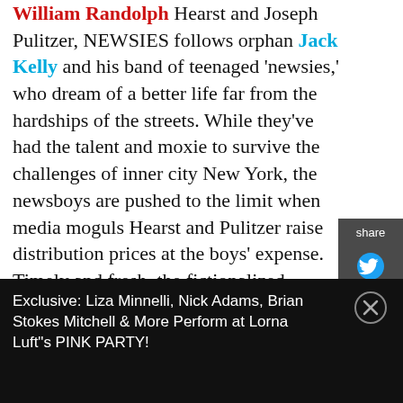William Randolph Hearst and Joseph Pulitzer, NEWSIES follows orphan Jack Kelly and his band of teenaged 'newsies,' who dream of a better life far from the hardships of the streets. While they've had the talent and moxie to survive the challenges of inner city New York, the newsboys are pushed to the limit when media moguls Hearst and Pulitzer raise distribution prices at the boys' expense. Timely and fresh, the fictionalized adaptation of NEWSIES addresses age-old themes of social injustice, exploitative labor practices and struggles as the young learn to harness their power against a corrupt establishment. Featuring soul stirring music, NEWSIES introduces eight brand-new songs by the
[Figure (other): Share sidebar with Twitter and Facebook icons on dark grey background]
Exclusive: Liza Minnelli, Nick Adams, Brian Stokes Mitchell & More Perform at Lorna Luft"s PINK PARTY!